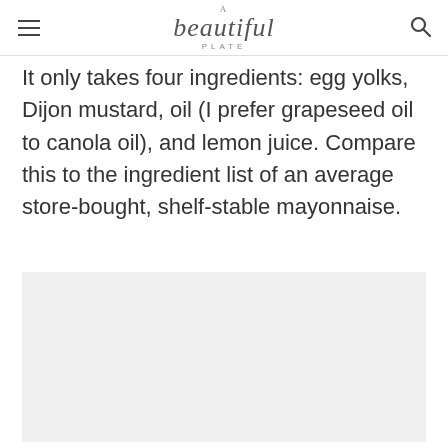A beautiful plate PLATE
It only takes four ingredients: egg yolks, Dijon mustard, oil (I prefer grapeseed oil to canola oil), and lemon juice. Compare this to the ingredient list of an average store-bought, shelf-stable mayonnaise.
[Figure (photo): Light gray placeholder image area representing a photo]